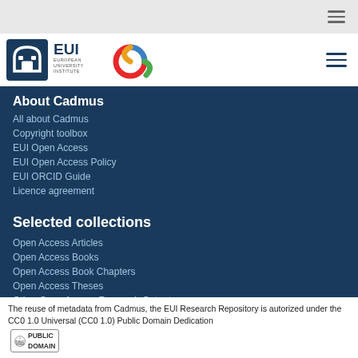[Figure (logo): EUI European University Institute logo with colorful C emblem]
About Cadmus
All about Cadmus
Copyright toolbox
EUI Open Access
EUI Open Access Policy
EUI ORCID Guide
Licence agreement
Selected collections
Open Access Articles
Open Access Books
Open Access Book Chapters
Open Access Theses
Other Open Access Research Outputs
EUI Theses published as Books
The reuse of metadata from Cadmus, the EUI Research Repository is autorized under the CC0 1.0 Universal (CC0 1.0) Public Domain Dedication